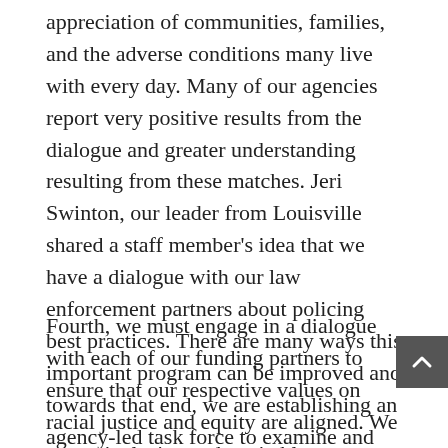appreciation of communities, families, and the adverse conditions many live with every day. Many of our agencies report very positive results from the dialogue and greater understanding resulting from these matches. Jeri Swinton, our leader from Louisville shared a staff member's idea that we have a dialogue with our law enforcement partners about policing best practices. There are many ways this important program can be improved and towards that end, we are establishing an agency-led task force to examine and make recommendations on how we can be advocates for change in our local communities and how this program can better serve young people.
Fourth, we must engage in a dialogue with each of our funding partners to ensure that our respective values on racial justice and equity are aligned. We are an inclusive and equitable organization that values everyone from our staff,